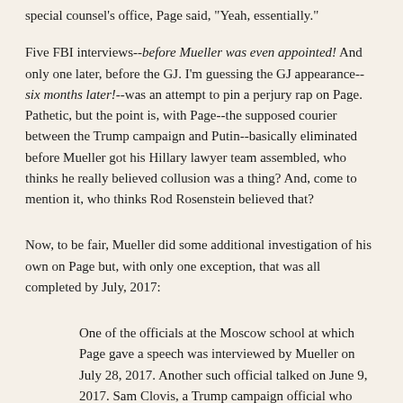special counsel's office, Page said, "Yeah, essentially."
Five FBI interviews--before Mueller was even appointed! And only one later, before the GJ. I'm guessing the GJ appearance--six months later!--was an attempt to pin a perjury rap on Page. Pathetic, but the point is, with Page--the supposed courier between the Trump campaign and Putin--basically eliminated before Mueller got his Hillary lawyer team assembled, who thinks he really believed collusion was a thing? And, come to mention it, who thinks Rod Rosenstein believed that?
Now, to be fair, Mueller did some additional investigation of his own on Page but, with only one exception, that was all completed by July, 2017:
One of the officials at the Moscow school at which Page gave a speech was interviewed by Mueller on July 28, 2017. Another such official talked on June 9, 2017. Sam Clovis, a Trump campaign official who Page allegedly had a major interaction on Oct 3...